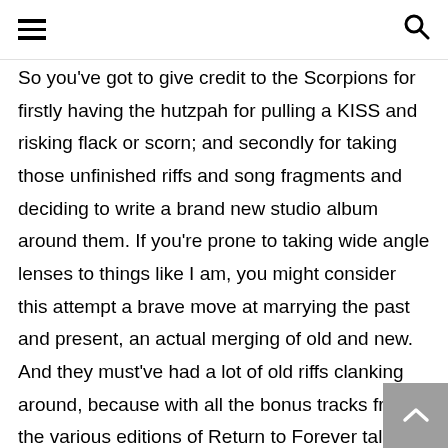[hamburger menu icon] [search icon]
So you've got to give credit to the Scorpions for firstly having the hutzpah for pulling a KISS and risking flack or scorn; and secondly for taking those unfinished riffs and song fragments and deciding to write a brand new studio album around them. If you're prone to taking wide angle lenses to things like I am, you might consider this attempt a brave move at marrying the past and present, an actual merging of old and new. And they must've had a lot of old riffs clanking around, because with all the bonus tracks from the various editions of Return to Forever tallied up with the original twelve song track listing, the Scorpions are releasing nineteen new songs. Nineteen! That's a double album by prog band standards, and by leaps and bounds the longest Scorpions studio album to date, clocking in at just over an hour. By anyone's reasonable